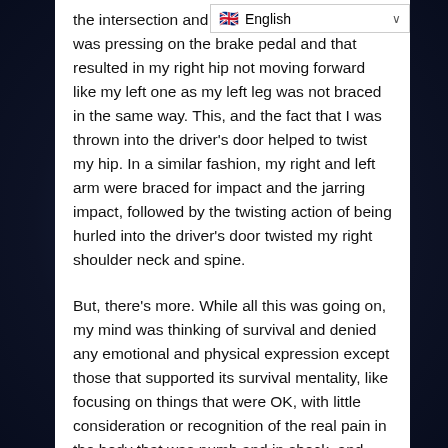[Figure (screenshot): Language selector bar showing UK flag and 'English' with dropdown chevron]
the intersection and I slammed on my right leg was pressing on the brake pedal and that resulted in my right hip not moving forward like my left one as my left leg was not braced in the same way. This, and the fact that I was thrown into the driver's door helped to twist my hip. In a similar fashion, my right and left arm were braced for impact and the jarring impact, followed by the twisting action of being hurled into the driver's door twisted my right shoulder neck and spine.
But, there's more. While all this was going on, my mind was thinking of survival and denied any emotional and physical expression except those that supported its survival mentality, like focusing on things that were OK, with little consideration or recognition of the real pain in the body that was numb and in shock, and unable to express itself as it needed to. It was only hours and days after the accident when the shock wore off that my mind became aware of the damage that had been inflicted on my Body, and even then, it was only related to the pain that the body was feeling at the time, that the Mind didn't